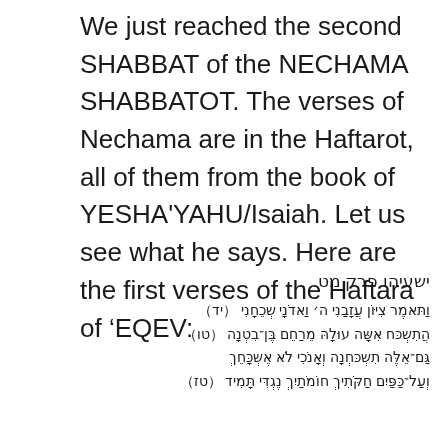We just reached the second SHABBAT of the NECHAMA SHABBATOT. The verses of Nechama are in the Haftarot, all of them from the book of YESHA'YAHU/Isaiah. Let us see what he says. Here are the first verses of the Haftara of 'EQEV:
ישעיהו פרק מט (יד) וַתֹּאמֶר צִיּוֹן עֲזָבַנִי ה' וַאדֹנָי שְׁכֵחָנִי (טו) הֲתִשְׁכַּח אִשָּׁה עוּלָהּ מֵרַחֵם בֶּן-בִּטְנָהּ גַּם-אֵלֶּה תִשְׁכַּחְנָה וְאָנֹכִי לֹא אֶשְׁכָּחֵךְ (טז) הֵן עַל-כַּפַּיִם חַקֹּתִיךְ חוֹמֹתַיִךְ נֶגְדִּי תָּמִיד: